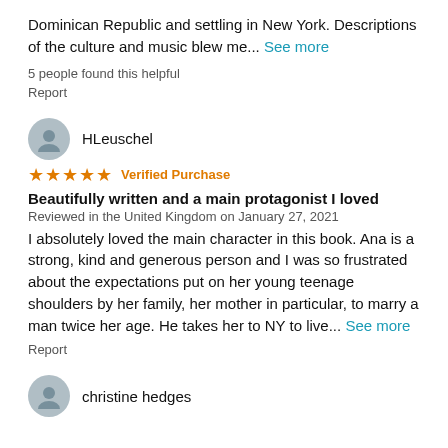Dominican Republic and settling in New York. Descriptions of the culture and music blew me... See more
5 people found this helpful
Report
HLeuschel
★★★★★ Verified Purchase
Beautifully written and a main protagonist I loved
Reviewed in the United Kingdom on January 27, 2021
I absolutely loved the main character in this book. Ana is a strong, kind and generous person and I was so frustrated about the expectations put on her young teenage shoulders by her family, her mother in particular, to marry a man twice her age. He takes her to NY to live... See more
Report
christine hedges